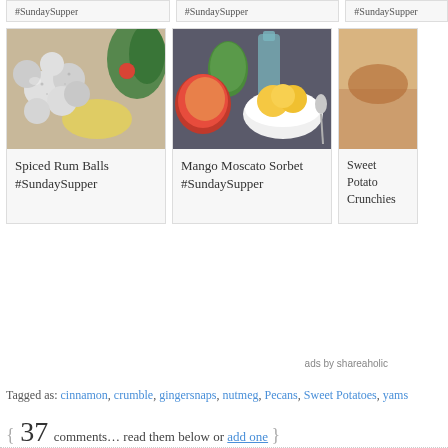[Figure (photo): Spiced Rum Balls photo - powdered sugar coated rum balls near Christmas tree decorations]
Spiced Rum Balls #SundaySupper
[Figure (photo): Mango Moscato Sorbet photo - mango sorbet in white bowl with fresh mangoes and glass bottle]
Mango Moscato Sorbet #SundaySupper
[Figure (photo): Sweet Potato Crunchies - partial card cut off on right]
Sweet Potato Crunchies
ads by shareaholic
Tagged as: cinnamon, crumble, gingersnaps, nutmeg, Pecans, Sweet Potatoes, yams
{ 37 comments… read them below or add one }